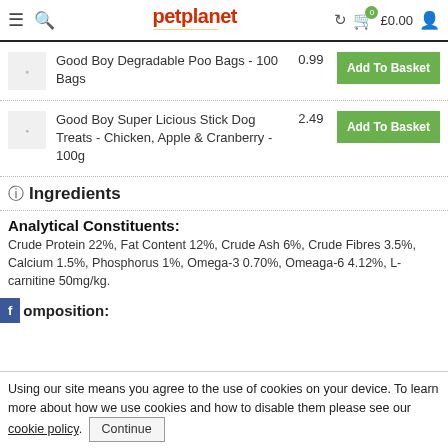petplanet.co.uk — navigation header with menu, search, logo, refresh, basket £0.00, account icons
Good Boy Degradable Poo Bags - 100 Bags
0.99
Add To Basket
Good Boy Super Licious Stick Dog Treats - Chicken, Apple & Cranberry - 100g
2.49
Add To Basket
ℹ Ingredients
Analytical Constituents:
Crude Protein 22%, Fat Content 12%, Crude Ash 6%, Crude Fibres 3.5%, Calcium 1.5%, Phosphorus 1%, Omega-3 0.70%, Omeaga-6 4.12%, L-carnitine 50mg/kg.
Composition:
Using our site means you agree to the use of cookies on your device. To learn more about how we use cookies and how to disable them please see our cookie policy.  Continue